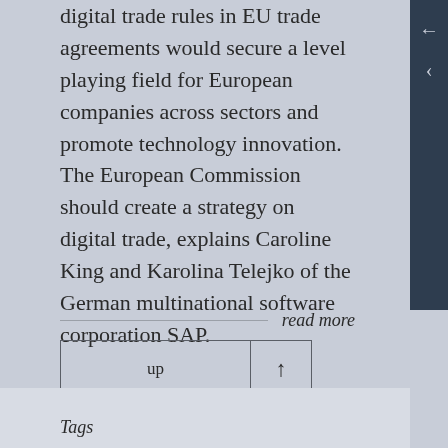digital trade rules in EU trade agreements would secure a level playing field for European companies across sectors and promote technology innovation. The European Commission should create a strategy on digital trade, explains Caroline King and Karolina Telejko of the German multinational software corporation SAP.
read more
up ↑
Tags